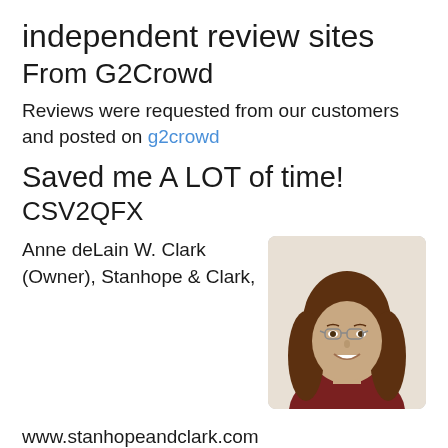independent review sites
From G2Crowd
Reviews were requested from our customers and posted on g2crowd
Saved me A LOT of time!
CSV2QFX
Anne deLain W. Clark (Owner), Stanhope & Clark,
[Figure (photo): Headshot photo of a woman with long brown hair, wearing glasses and a dark red top, smiling at the camera against a light background.]
www.stanhopeandclark.com
What do you like best?